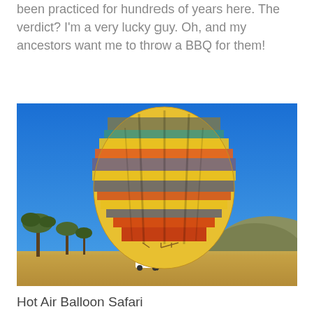been practiced for hundreds of years here. The verdict? I'm a very lucky guy. Oh, and my ancestors want me to throw a BBQ for them!
[Figure (photo): A colorful hot air balloon with horizontal stripes of yellow, orange, green, grey, and red panels, floating just above the ground on an African savanna landscape with acacia trees, dry golden grass, rolling hills, and a clear blue sky. A white vehicle is visible at the base of the balloon.]
Hot Air Balloon Safari